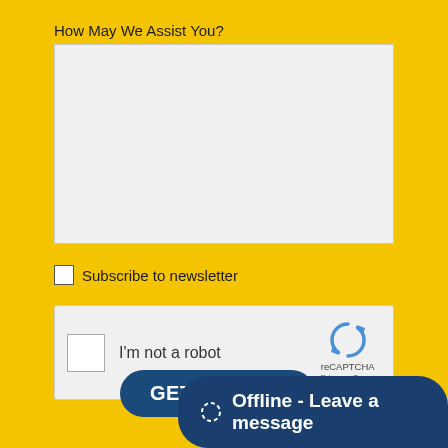How May We Assist You?
[Figure (screenshot): Empty textarea input field with light gray background]
Subscribe to newsletter
[Figure (screenshot): reCAPTCHA widget with checkbox 'I'm not a robot', reCAPTCHA logo, Privacy and Terms links]
GET IT FIXED
Offline - Leave a message